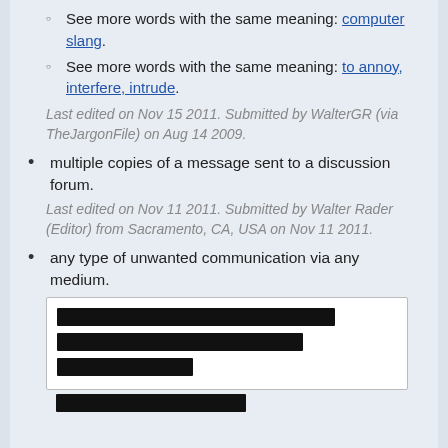See more words with the same meaning: computer slang.
See more words with the same meaning: to annoy, interfere, intrude.
Last edited on Nov 15 2011. Submitted by WalterGR (via TheJargonFile) on Aug 14 2009.
multiple copies of a message sent to a discussion forum.
Last edited on Nov 11 2011. Submitted by Walter Rader (Editor) from Sacramento, CA, USA on Nov 11 2011.
any type of unwanted communication via any medium.
[Figure (other): Redacted text block with three black bars of varying widths followed by a partial fourth bar below.]